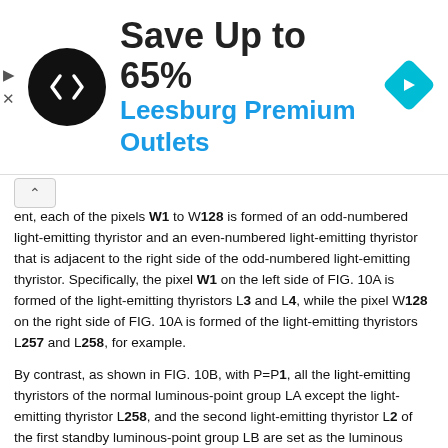[Figure (other): Advertisement banner for Leesburg Premium Outlets showing logo, text 'Save Up to 65% Leesburg Premium Outlets', and navigation arrow icon]
ent, each of the pixels W1 to W128 is formed of an odd-numbered light-emitting thyristor and an even-numbered light-emitting thyristor that is adjacent to the right side of the odd-numbered light-emitting thyristor. Specifically, the pixel W1 on the left side of FIG. 10A is formed of the light-emitting thyristors L3 and L4, while the pixel W128 on the right side of FIG. 10A is formed of the light-emitting thyristors L257 and L258, for example.
By contrast, as shown in FIG. 10B, with P=P1, all the light-emitting thyristors of the normal luminous-point group LA except the light-emitting thyristor L258, and the second light-emitting thyristor L2 of the first standby luminous-point group LB are set as the luminous points in the light-emitting chip C. In other words, the luminous points in the light-emitting chip C are set to the light-emitting thyristors L2 to L257, and thus the luminous points shift by one to the IN side. As a result, the light-emitting chip C forms the 128 pixels W1 to W128 by using the 256 light-emitting thyristors L2 to L257. In this event, each of the pixels W1 to W128 is formed of an even-numbered light-emitting thyristor and an odd-numbered light-emitting thyristor that is adjacent to the right side of the even-numbered light-emitting thyristor. Specifically, the pixel W1 on the left side of FIG. 10B is